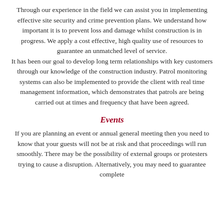Through our experience in the field we can assist you in implementing effective site security and crime prevention plans. We understand how important it is to prevent loss and damage whilst construction is in progress. We apply a cost effective, high quality use of resources to guarantee an unmatched level of service. It has been our goal to develop long term relationships with key customers through our knowledge of the construction industry. Patrol monitoring systems can also be implemented to provide the client with real time management information, which demonstrates that patrols are being carried out at times and frequency that have been agreed.
Events
If you are planning an event or annual general meeting then you need to know that your guests will not be at risk and that proceedings will run smoothly. There may be the possibility of external groups or protesters trying to cause a disruption. Alternatively, you may need to guarantee complete